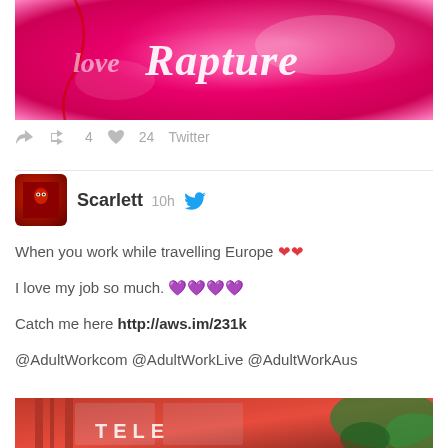[Figure (photo): Pink/magenta shiny latex surface with cursive white text reading 'Rapture' (with partial 'Love' visible on the left)]
↩ 🔁 4  ♥ 24  Twitter
Scarlett  10h  [Twitter bird icon]
When you work while travelling Europe ❤❤

I love my job so much. 💜💜💜💜

Catch me here http://aws.im/231k

@AdultWorkcom @AdultWorkLive @AdultWorkAus
[Figure (photo): Red British telephone box (phone booth) with foliage visible on the right side]